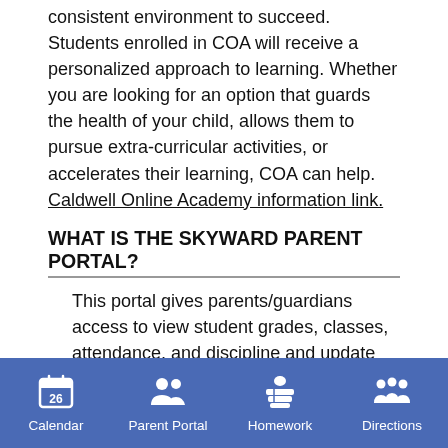consistent environment to succeed. Students enrolled in COA will receive a personalized approach to learning. Whether you are looking for an option that guards the health of your child, allows them to pursue extra-curricular activities, or accelerates their learning, COA can help. Caldwell Online Academy information link.
WHAT IS THE SKYWARD PARENT PORTAL?
This portal gives parents/guardians access to view student grades, classes, attendance, and discipline and update your contact information, school fees, and other information.
Skyward Parent Portal Quick Link
WHEN DO FALL SPORTS BEGIN?
[Figure (infographic): Bottom navigation bar with four items: Calendar (showing 26), Parent Portal (two people icon), Homework (books/apple icon), Directions (multiple people icon). Blue background.]